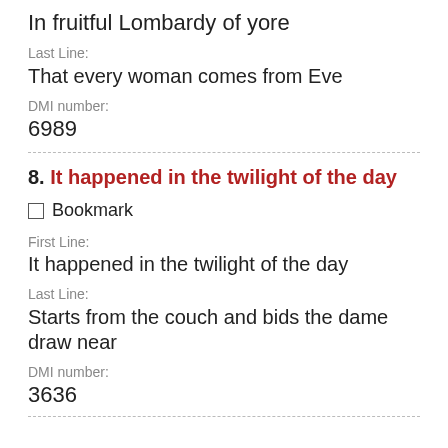In fruitful Lombardy of yore
Last Line:
That every woman comes from Eve
DMI number:
6989
8. It happened in the twilight of the day
Bookmark
First Line:
It happened in the twilight of the day
Last Line:
Starts from the couch and bids the dame draw near
DMI number:
3636